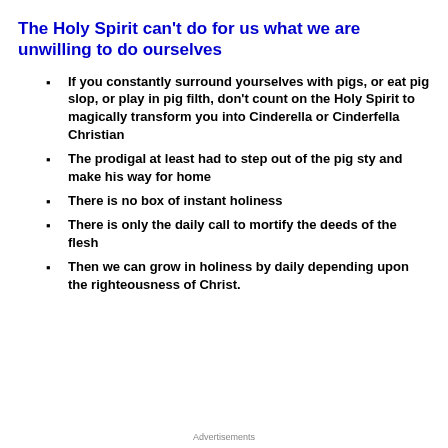The Holy Spirit can't do for us what we are unwilling to do ourselves
If you constantly surround yourselves with pigs, or eat pig slop, or play in pig filth, don't count on the Holy Spirit to magically transform you into Cinderella or Cinderfella Christian
The prodigal at least had to step out of the pig sty and make his way for home
There is no box of instant holiness
There is only the daily call to mortify the deeds of the flesh
Then we can grow in holiness by daily depending upon the righteousness of Christ.
Advertisements